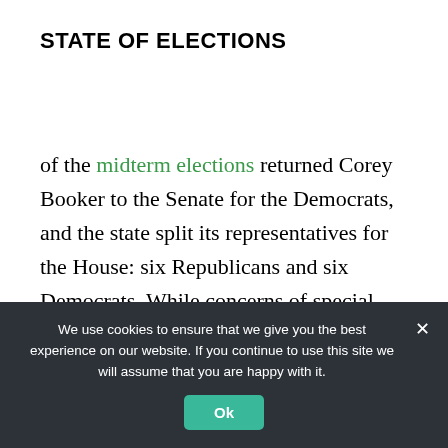STATE OF ELECTIONS
of the midterm elections returned Corey Booker to the Senate for the Democrats, and the state split its representatives for the House: six Republicans and six Democrats. While concerns of special interests and the big money they bring are certainly warranted, it seems for now that New Jersey voters remain unconvinced.
We use cookies to ensure that we give you the best experience on our website. If you continue to use this site we will assume that you are happy with it.